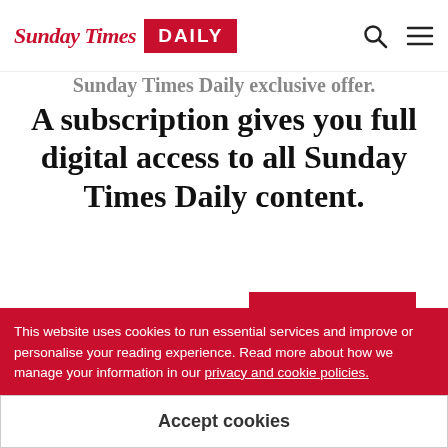Sunday Times DAILY
Sunday Times Daily exclusive offer. A subscription gives you full digital access to all Sunday Times Daily content.
[Figure (logo): Sunday Times Daily logo — 'Sunday Times' in red serif italic followed by a red rectangle with 'DAILY' in white bold sans-serif]
Already subscribed? Simply sign in below.
This website uses cookies to run essential services and improve or personalise your reading experience. Read more about how we manage your information in our privacy and cookie policies.
Accept cookies